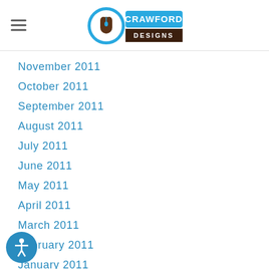Crawford Designs
November 2011
October 2011
September 2011
August 2011
July 2011
June 2011
May 2011
April 2011
March 2011
February 2011
January 2011
December 2010